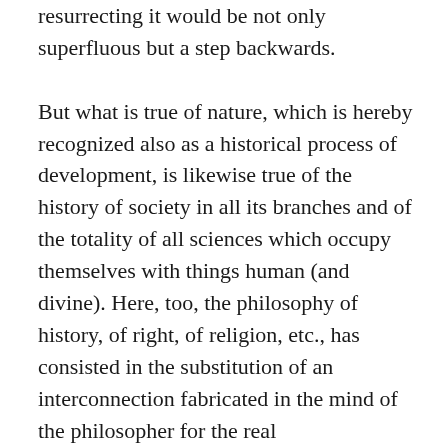resurrecting it would be not only superfluous but a step backwards.

But what is true of nature, which is hereby recognized also as a historical process of development, is likewise true of the history of society in all its branches and of the totality of all sciences which occupy themselves with things human (and divine). Here, too, the philosophy of history, of right, of religion, etc., has consisted in the substitution of an interconnection fabricated in the mind of the philosopher for the real interconnection to be demonstrated in the events; has consisted in the comprehension of history as a whole as well as in its separate parts, as the gradual realization of ideas -- and naturally always only the pet ideas of the philosopher himself. According to this, history worked unconsciously but of necessity towards